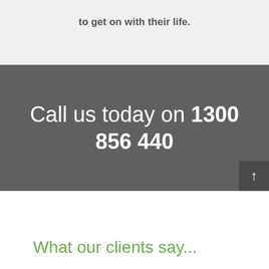to get on with their life.
Call us today on 1300 856 440
What our clients say...